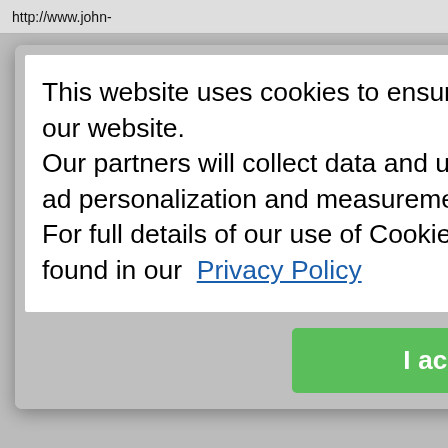http://www.john-
| Description: | Marriages, Baptisms, Burials, Banns |
| Extra Info: | Easy to search. |
| Classification: | GRO BMD, Banns, Baptisms, Births, Burials / Cremations, Census, Deaths, Marriages, National, Parish Records, Wills / Probate |
| Title: | Scotland's People |
| Link: | [General Register Office logo] |
This website uses cookies to ensure you get the best experience on our website.
Our partners will collect data and use cookies for ad personalization and measurement.
For full details of our use of Cookies can be found in our  Privacy Policy
I accept